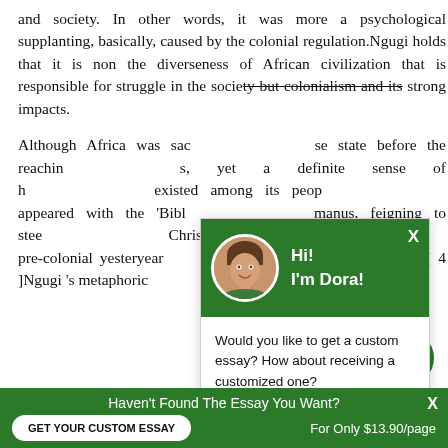and society. In other words, it was more a psychological supplanting, basically, caused by the colonial regulation.Ngugi holds that it is non the diverseness of African civilization that is responsible for struggle in the society but colonialism and its strong impacts.
Although Africa was sac… se state before the reaching…s, yet a definite sense of h… existed among its peop… appeared with the 'Bibl… manus, feigning to stee… Christianity and to trave… pre-colonial yesteryear… Christian nowadays '.[ 4 ]Ngugi 's metaphoric…
[Figure (screenshot): Popup chat widget with green header showing avatar and 'Hi! I'm Dora!' text, body with 'Would you like to get a custom essay? How about receiving a customized one?' and 'Click here' link]
[Figure (other): Green circular chat button with message icon]
Haven't Found The Essay You Want?  GET YOUR CUSTOM ESSAY  For Only $13.90/page  X